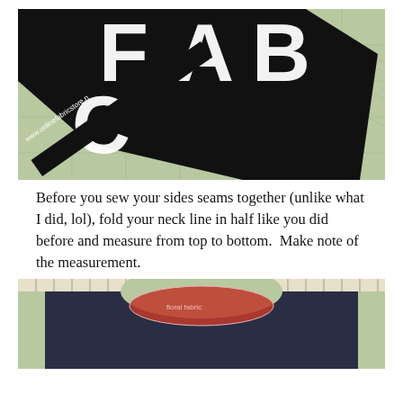[Figure (photo): A black t-shirt fabric with large white letters including 'FAB' visible, placed on a green cutting mat. The selvage edge shows 'www.onlinefabricstore.n' text in white on black.]
Before you sew your sides seams together (unlike what I did, lol), fold your neck line in half like you did before and measure from top to bottom.  Make note of the measurement.
[Figure (photo): A dark navy sleeveless top/shirt laid flat on a green cutting mat with a ruler visible at top. The neckline area shows a floral fabric insert in pink/red colors peeking out from the neckline opening.]